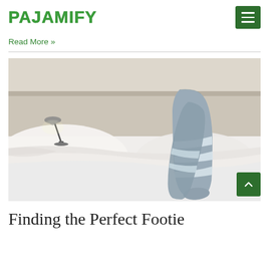PAJAMIFY
Read More »
[Figure (photo): Person lying in bed with feet sticking out from under white bedding, wearing gray and white striped fuzzy socks. A bedside lamp is visible in the background on the left.]
Finding the Perfect Footie